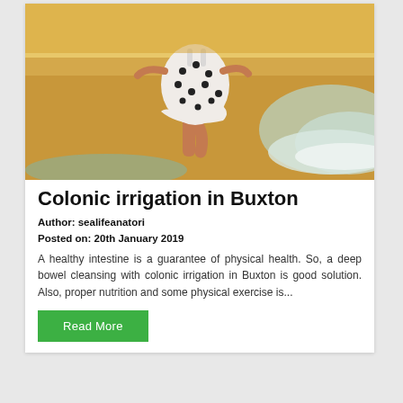[Figure (photo): Woman in white polka-dot dress running barefoot on a sunny beach with ocean waves, shot from torso down]
Colonic irrigation in Buxton
Author: sealifeanatori
Posted on: 20th January 2019
A healthy intestine is a guarantee of physical health. So, a deep bowel cleansing with colonic irrigation in Buxton is good solution. Also, proper nutrition and some physical exercise is...
Read More